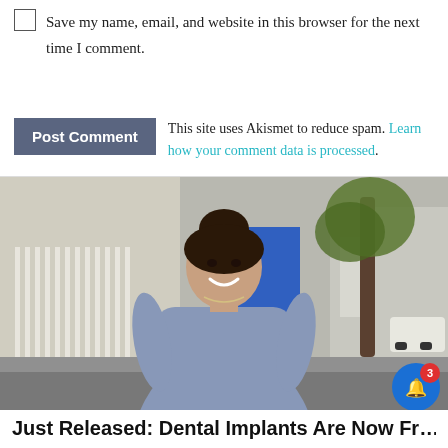☐ Save my name, email, and website in this browser for the next time I comment.
This site uses Akismet to reduce spam. Learn how your comment data is processed.
[Figure (photo): A smiling woman with dark hair in an updo wearing a grey fitted dress, standing outdoors on a sidewalk with a fence and building on the left and a tree on the right.]
Just Released: Dental Implants Are Now Fr… With Medicare. See Options